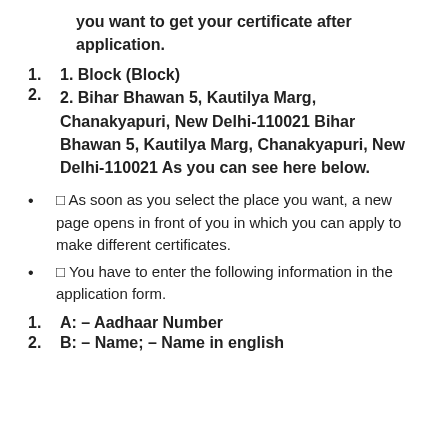you want to get your certificate after application.
1. Block (Block)
2. Bihar Bhawan 5, Kautilya Marg, Chanakyapuri, New Delhi-110021 Bihar Bhawan 5, Kautilya Marg, Chanakyapuri, New Delhi-110021 As you can see here below.
⬛ As soon as you select the place you want, a new page opens in front of you in which you can apply to make different certificates.
⬛ You have to enter the following information in the application form.
A: – Aadhaar Number
B: – Name; – Name in english